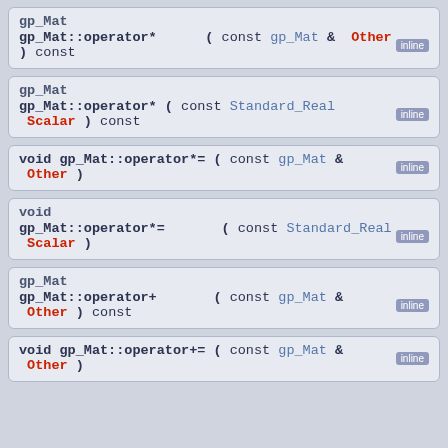gp_Mat gp_Mat::operator* ( const gp_Mat & Other ) const [inline]
gp_Mat gp_Mat::operator* ( const Standard_Real Scalar ) const [inline]
void gp_Mat::operator*= ( const gp_Mat & Other ) [inline]
void gp_Mat::operator*= ( const Standard_Real Scalar ) [inline]
gp_Mat gp_Mat::operator+ ( const gp_Mat & Other ) const [inline]
void gp_Mat::operator+= ( const gp_Mat & Other ) [inline]